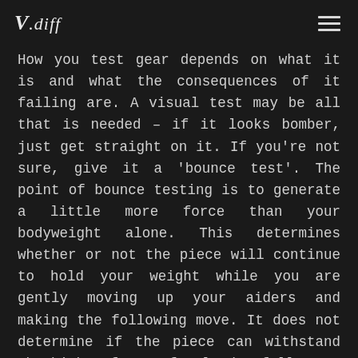V.diff
How you test gear depends on what it is and what the consequences of it failing are. A visual test may be all that is needed – if it looks bomber, just get straight on it. If you're not sure, give it a 'bounce test'. The point of bounce testing is to generate a little more force than your bodyweight alone. This determines whether or not the piece will continue to hold your weight while you are gently moving up your aiders and making the following move. It does not determine if the piece can withstand the higher force of a leader fall.
How you test depends on what the gear is. Burly